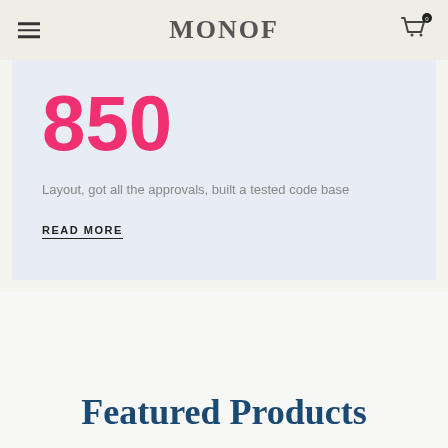MONOF
850
Layout, got all the approvals, built a tested code base
READ MORE
Featured Products